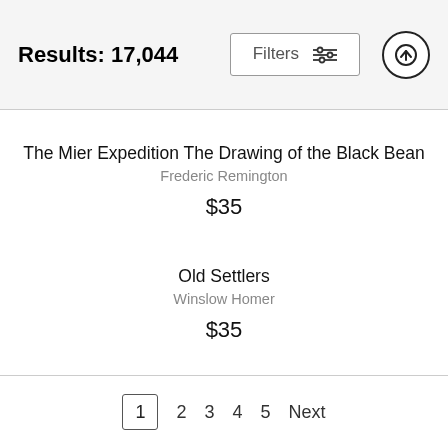Results: 17,044
The Mier Expedition The Drawing of the Black Bean
Frederic Remington
$35
Old Settlers
Winslow Homer
$35
1 2 3 4 5 Next